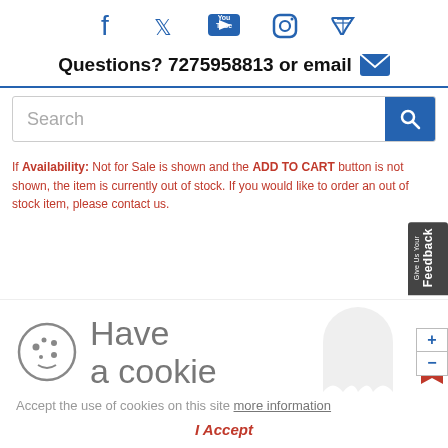[Figure (infographic): Social media icons: Facebook, Twitter, YouTube, Instagram, RSS feed — in blue]
Questions? 7275958813 or email [email icon]
[Figure (infographic): Search bar with magnifying glass button]
If Availability: Not for Sale is shown and the ADD TO CART button is not shown, the item is currently out of stock. If you would like to order an out of stock item, please contact us.
[Figure (infographic): Cookie consent overlay with cookie icon and ghost silhouette]
Accept the use of cookies on this site more information
I Accept